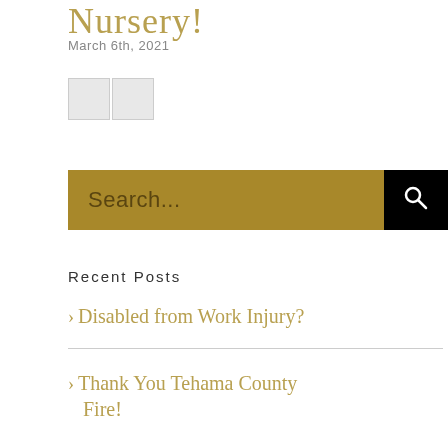Nursery!
March 6th, 2021
[Figure (other): Two social media sharing icon boxes (gray placeholders)]
Search...
Recent Posts
> Disabled from Work Injury?
> Thank You Tehama County Fire!